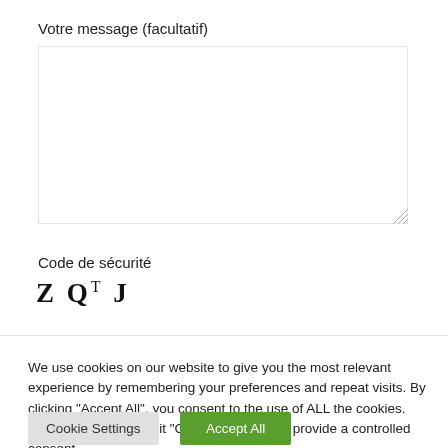Votre message (facultatif)
[Figure (other): Text area input field (empty), with resize handle at bottom-right corner]
Code de sécurité
Z Q T J
We use cookies on our website to give you the most relevant experience by remembering your preferences and repeat visits. By clicking "Accept All", you consent to the use of ALL the cookies. However, you may visit "Cookie Settings" to provide a controlled consent.
Cookie Settings
Accept All